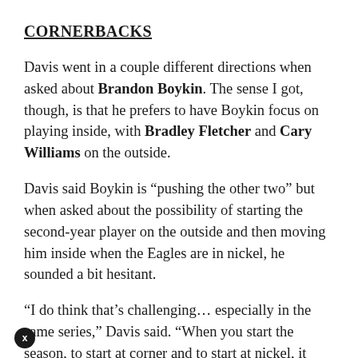CORNERBACKS
Davis went in a couple different directions when asked about Brandon Boykin. The sense I got, though, is that he prefers to have Boykin focus on playing inside, with Bradley Fletcher and Cary Williams on the outside.
Davis said Boykin is “pushing the other two” but when asked about the possibility of starting the second-year player on the outside and then moving him inside when the Eagles are in nickel, he sounded a bit hesitant.
“I do think that’s challenging… especially in the same series,” Davis said. “When you start the season, to start at corner and to start at nickel, it becomes more challenging. It is something usually the older veterans can pull off, guys that have played a lot of nickel or